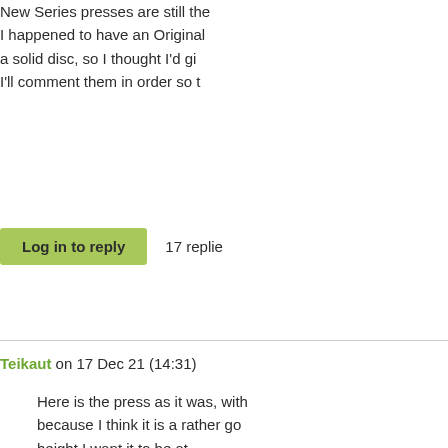New Series presses are still the I happened to have an Original a solid disc, so I thought I'd gi I'll comment them in order so t
Log in to reply
17 replie
Teikaut on 17 Dec 21 (14:31)
Here is the press as it was, with because I think it is a rather go height I want it to be at.

If people want to find shims fo Carr.

https://www.mcmaster.com/970
[Figure (photo): Photo of a press mechanism, partially visible, showing metallic components against a light background]